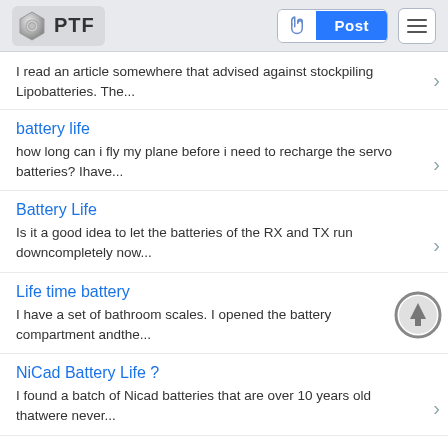PTF | Post
I read an article somewhere that advised against stockpiling Lipobatteries. The...
battery life
how long can i fly my plane before i need to recharge the servo batteries? Ihave...
Battery Life
Is it a good idea to let the batteries of the RX and TX run downcompletely now...
Life time battery
I have a set of bathroom scales. I opened the battery compartment andthe...
NiCad Battery Life ?
I found a batch of Nicad batteries that are over 10 years old thatwere never...
Recharging Robot Battery...